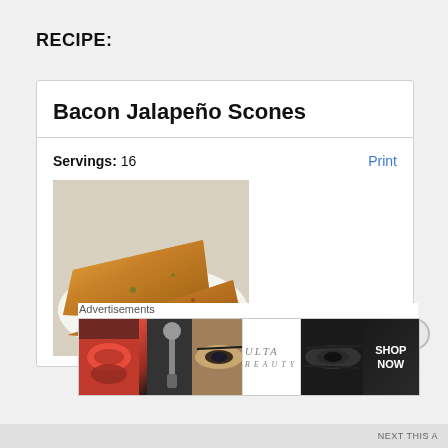RECIPE:
Bacon Jalapeño Scones
Servings: 16
Print
[Figure (photo): Two triangular bacon jalapeño scones on a white paper towel, golden brown baked goods with visible mix-ins]
Advertisements
[Figure (photo): ULTA Beauty advertisement banner with makeup imagery including red lips, brush, eye with dramatic makeup, ULTA logo, dramatic eye makeup, and SHOP NOW text on dark background]